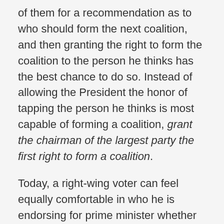of them for a recommendation as to who should form the next coalition, and then granting the right to form the coalition to the person he thinks has the best chance to do so. Instead of allowing the President the honor of tapping the person he thinks is most capable of forming a coalition, grant the chairman of the largest party the first right to form a coalition.
Today, a right-wing voter can feel equally comfortable in who he is endorsing for prime minister whether he casts his vote for Likud, Bayit Yehudi, or Yisrael Beytenu. Why? Because they are all part of the right-wing camp and will support Netanyahu to be tapped as the coalition builder. At the same time, after Netanyahu is tapped, Yisrael Beytenu, Bayit Yehudi, and other Likud coalition partners can attempt to drive a hard bargain with Netanyahu, knowing that his alternative partners are limited. Of course, the same phenomenon is true for left-wing voters